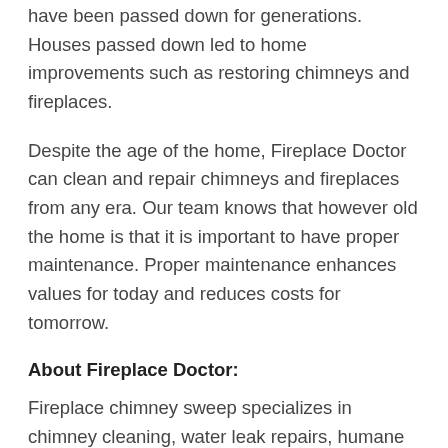have been passed down for generations. Houses passed down led to home improvements such as restoring chimneys and fireplaces.
Despite the age of the home, Fireplace Doctor can clean and repair chimneys and fireplaces from any era. Our team knows that however old the home is that it is important to have proper maintenance. Proper maintenance enhances values for today and reduces costs for tomorrow.
About Fireplace Doctor:
Fireplace chimney sweep specializes in chimney cleaning, water leak repairs, humane animal removal, and fireplace design. We pride ourselves on our efficiency, honesty, professionalism, and information with customer service.
Our main focus is to provide a high-quality service to our customers to establish loyalty and trust. Our